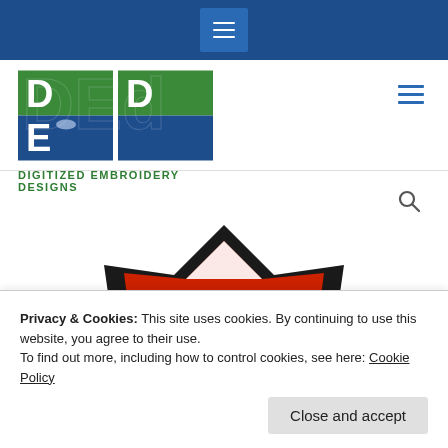Navigation bar with hamburger menu
[Figure (logo): Digitized Embroidery Designs (DED) logo with green and blue stylized letters and tagline DIGITIZED EMBROIDERY DESIGNS]
[Figure (photo): Fire department embroidery patch design showing a Maltese cross in red and black with the word FIRE in the center]
Privacy & Cookies: This site uses cookies. By continuing to use this website, you agree to their use.
To find out more, including how to control cookies, see here: Cookie Policy
Close and accept